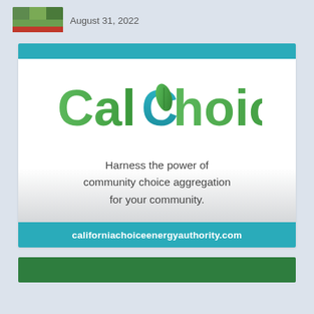August 31, 2022
[Figure (logo): CalChoice logo with leaf icon and tagline: Harness the power of community choice aggregation for your community. URL: californiachoiceenergyauthority.com]
[Figure (other): Green banner card at bottom of page]